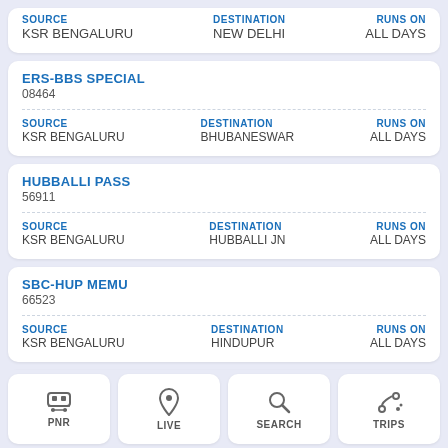KSR BENGALURU | NEW DELHI | ALL DAYS
ERS-BBS SPECIAL
08464
SOURCE: KSR BENGALURU | DESTINATION: BHUBANESWAR | RUNS ON: ALL DAYS
HUBBALLI PASS
56911
SOURCE: KSR BENGALURU | DESTINATION: HUBBALLI JN | RUNS ON: ALL DAYS
SBC-HUP MEMU
66523
SOURCE: KSR BENGALURU | DESTINATION: HINDUPUR | RUNS ON: ALL DAYS
CCT CITY SPE... 372... SOURCE... DESTINATION... RUNS ON
PNR
LIVE
SEARCH
TRIPS